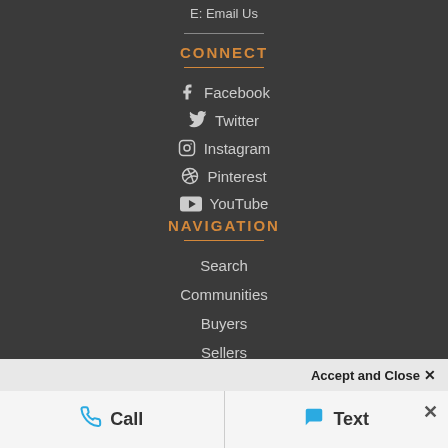E: Email Us
CONNECT
Facebook
Twitter
Instagram
Pinterest
YouTube
NAVIGATION
Search
Communities
Buyers
Sellers
About
Accept and Close ×
Call
Text